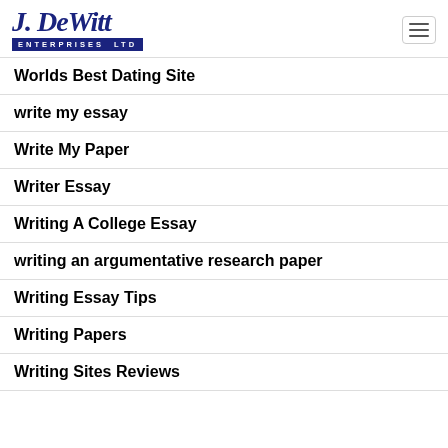[Figure (logo): J. DeWitt Enterprises Ltd logo with script text and navy blue banner]
Worlds Best Dating Site
write my essay
Write My Paper
Writer Essay
Writing A College Essay
writing an argumentative research paper
Writing Essay Tips
Writing Papers
Writing Sites Reviews